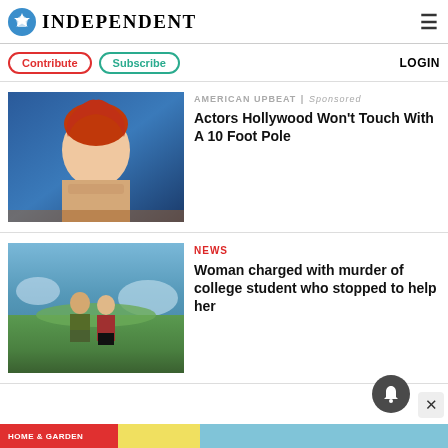INDEPENDENT
Contribute | Subscribe | LOGIN
[Figure (photo): Red-haired woman at an event, bare shoulders, layered necklaces, blue background with partial gold lettering]
AMERICAN UPBEAT | Sponsored
Actors Hollywood Won't Touch With A 10 Foot Pole
[Figure (photo): A man and woman standing on a scenic overlook with ocean and green landscape behind them]
NEWS
Woman charged with murder of college student who stopped to help her
HOME & GARDEN